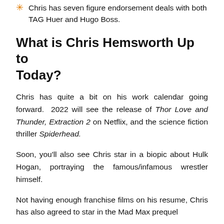Chris has seven figure endorsement deals with both TAG Huer and Hugo Boss.
What is Chris Hemsworth Up to Today?
Chris has quite a bit on his work calendar going forward. 2022 will see the release of Thor Love and Thunder, Extraction 2 on Netflix, and the science fiction thriller Spiderhead.
Soon, you'll also see Chris star in a biopic about Hulk Hogan, portraying the famous/infamous wrestler himself.
Not having enough franchise films on his resume, Chris has also agreed to star in the Mad Max prequel